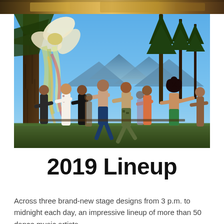[Figure (photo): Partial top strip of a photo visible at the very top of the page, showing warm earthy tones, appears to be a cropped slice of an outdoor scene]
[Figure (photo): Outdoor festival photo showing a group of people dancing and stretching with arms outstretched among pine trees with blue mountain sky and a large decorative flower sculpture in upper left. Scene appears to be a daytime outdoor dance/movement gathering at a mountain festival.]
2019 Lineup
Across three brand-new stage designs from 3 p.m. to midnight each day, an impressive lineup of more than 50 dance music artists,